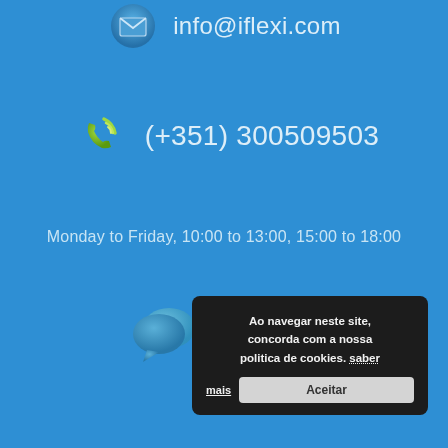[Figure (screenshot): Blue contact info section showing email icon with info@iflexi.com, phone icon with (+351) 300509503, hours Monday to Friday 10:00 to 13:00, 15:00 to 18:00, and Live Help chat icon]
info@iflexi.com
(+351) 300509503
Monday to Friday, 10:00 to 13:00, 15:00 to 18:00
Live Help
Terms and Conditions  Contacts
Powered by iFlexiOpenSite
Ao navegar neste site, concorda com a nossa politica de cookies. saber mais
Aceitar